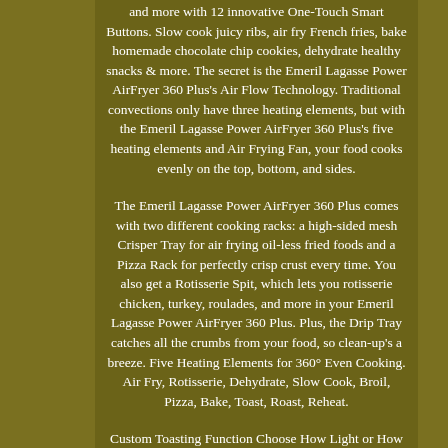and more with 12 innovative One-Touch Smart Buttons. Slow cook juicy ribs, air fry French fries, bake homemade chocolate chip cookies, dehydrate healthy snacks & more. The secret is the Emeril Lagasse Power AirFryer 360 Plus's Air Flow Technology. Traditional convections only have three heating elements, but with the Emeril Lagasse Power AirFryer 360 Plus's five heating elements and Air Frying Fan, your food cooks evenly on the top, bottom, and sides.
The Emeril Lagasse Power AirFryer 360 Plus comes with two different cooking racks: a high-sided mesh Crisper Tray for air frying oil-less fried foods and a Pizza Rack for perfectly crisp crust every time. You also get a Rotisserie Spit, which lets you rotisserie chicken, turkey, roulades, and more in your Emeril Lagasse Power AirFryer 360 Plus. Plus, the Drip Tray catches all the crumbs from your food, so clean-up's a breeze. Five Heating Elements for 360° Even Cooking. Air Fry, Rotisserie, Dehydrate, Slow Cook, Broil, Pizza, Bake, Toast, Roast, Reheat.
Custom Toasting Function Choose How Light or How Dark. No Added Oil or Lard Required. Slow Cook up to 10 hours. XL Capacity: 940 Cubic Inches. Digital Display Panel With Automatic Shut-Off. Crystal-Clear See-Through Window With Extra-Large Easy-Grip Handle. 1500 Watts Of Turbo Cyclonic Power. We offer the best prices around on high quality products. Our E-store includes media such as books, movies, music and games while offering electronics, toys, sporting apparel, clothing, tools, general home, garden items and more. We are always working hard to ensure your package arrives as soon as possible. We do not accept P. Please